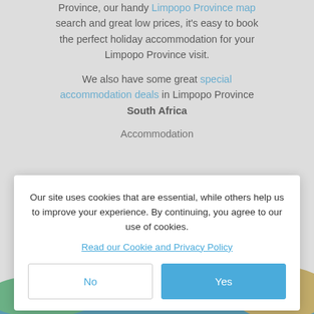Province, our handy Limpopo Province map search and great low prices, it's easy to book the perfect holiday accommodation for your Limpopo Province visit.
We also have some great special accommodation deals in Limpopo Province South Africa
Accommodation
[Figure (illustration): Decorative coastal scene with sailboat, water, hills and silhouetted figure with animals (elephant) in golden tones on right side]
Our site uses cookies that are essential, while others help us to improve your experience. By continuing, you agree to our use of cookies. Read our Cookie and Privacy Policy
No
Yes
Filters